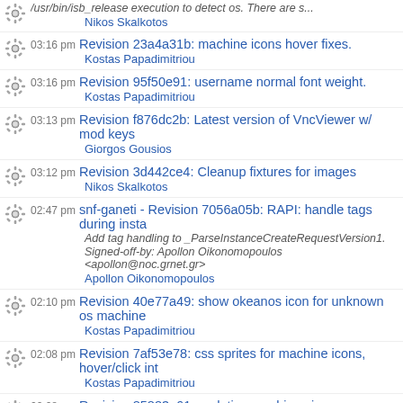/usr/bin/isb_release execution to detect os. There are s... Nikos Skalkotos
03:16 pm Revision 23a4a31b: machine icons hover fixes. Kostas Papadimitriou
03:16 pm Revision 95f50e91: username normal font weight. Kostas Papadimitriou
03:13 pm Revision f876dc2b: Latest version of VncViewer w/ mod keys Giorgos Gousios
03:12 pm Revision 3d442ce4: Cleanup fixtures for images Nikos Skalkotos
02:47 pm snf-ganeti - Revision 7056a05b: RAPI: handle tags during insta... Add tag handling to _ParseInstanceCreateRequestVersion1. Signed-off-by: Apollon Oikonomopoulos <apollon@noc.grnet.gr> Apollon Oikonomopoulos
02:10 pm Revision 40e77a49: show okeanos icon for unknown os machine... Kostas Papadimitriou
02:08 pm Revision 7af53e78: css sprites for machine icons, hover/click int... Kostas Papadimitriou
02:08 pm Revision 85883e61: updating machines icons - new states (click, hover) - sprite images for all states - minimized files with pngcrush Kostas Papadimitriou
01:12 pm Feature #527 (Closed): Στοιχεία για πεδία CPU, RAM, NET στο...